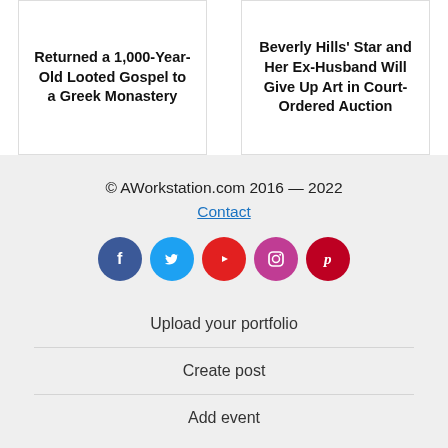Returned a 1,000-Year-Old Looted Gospel to a Greek Monastery
Beverly Hills' Star and Her Ex-Husband Will Give Up Art in Court-Ordered Auction
© AWorkstation.com 2016 — 2022
Contact
[Figure (infographic): Social media icon buttons: Facebook (blue), Twitter (light blue), YouTube (red), Instagram (pink/magenta), Pinterest (dark red), all circular]
Upload your portfolio
Create post
Add event